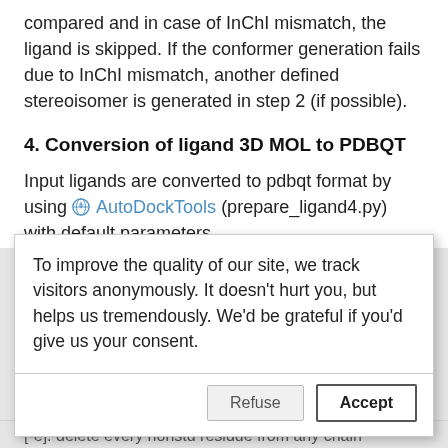compared and in case of InChI mismatch, the ligand is skipped. If the conformer generation fails due to InChI mismatch, another defined stereoisomer is generated in step 2 (if possible).
4. Conversion of ligand 3D MOL to PDBQT
Input ligands are converted to pdbqt format by using AutoDockTools (prepare_ligand4.py) with default parameters.
To improve the quality of our site, we track visitors anonymously. It doesn't hurt you, but helps us tremendously. We'd be grateful if you'd give us your consent.
[-e]: delete every nonstd residue from any chain